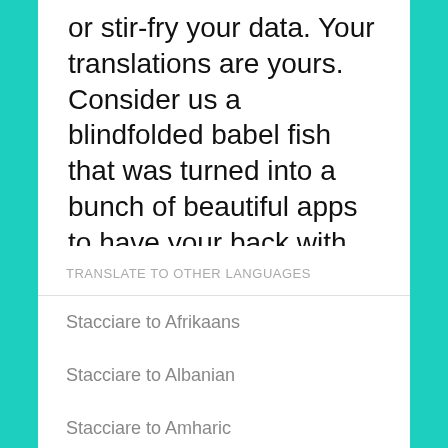or stir-fry your data. Your translations are yours. Consider us a blindfolded babel fish that was turned into a bunch of beautiful apps to have your back with translations.
TRANSLATE TO OTHER LANGUAGES
Stacciare to Afrikaans
Stacciare to Albanian
Stacciare to Amharic
Stacciare to Arabic
Stacciare to Armenian
Stacciare to Azerbaijani